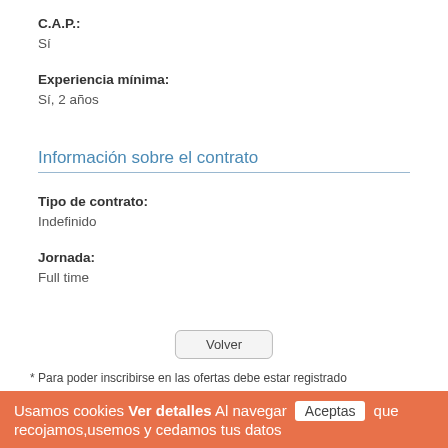C.A.P.:
Sí
Experiencia mínima:
Sí, 2 años
Información sobre el contrato
Tipo de contrato:
Indefinido
Jornada:
Full time
Volver
* Para poder inscribirse en las ofertas debe estar registrado
Política de Privacidad y cookies
Usamos cookies Ver detalles Al navegar Aceptas que recojamos,usemos y cedamos tus datos